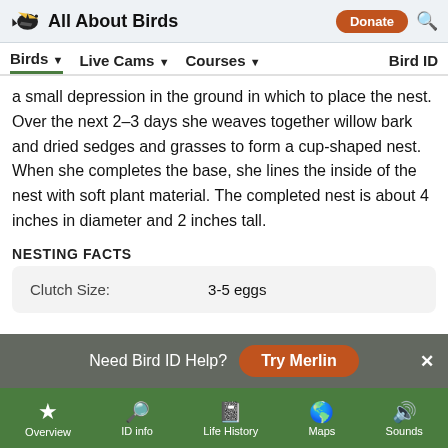All About Birds | Donate | Search
Birds | Live Cams | Courses | Bird ID
a small depression in the ground in which to place the nest. Over the next 2–3 days she weaves together willow bark and dried sedges and grasses to form a cup-shaped nest. When she completes the base, she lines the inside of the nest with soft plant material. The completed nest is about 4 inches in diameter and 2 inches tall.
NESTING FACTS
| Clutch Size: | 3-5 eggs |
Need Bird ID Help? Try Merlin
Overview | ID info | Life History | Maps | Sounds